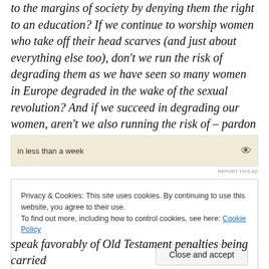to the margins of society by denying them the right to an education? If we continue to worship women who take off their head scarves (and just about everything else too), don't we run the risk of degrading them as we have seen so many women in Europe degraded in the wake of the sexual revolution? And if we succeed in degrading our women, aren't we also running the risk of – pardon my language – turning ourselves into pimps?
[Figure (other): Advertisement banner showing text 'in less than a week' with an eye icon on a tan/beige background]
REPORT THIS AD
Privacy & Cookies: This site uses cookies. By continuing to use this website, you agree to their use.
To find out more, including how to control cookies, see here: Cookie Policy
Close and accept
speak favorably of Old Testament penalties being carried